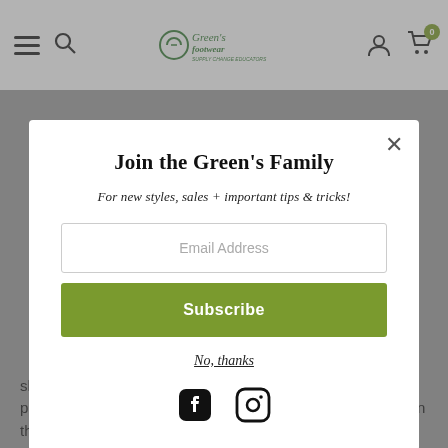Green's Footwear navigation bar with hamburger menu, search, logo, account and cart icons
Join the Green's Family
For new styles, sales + important tips & tricks!
Email Address
Subscribe
No, thanks
[Figure (logo): Facebook and Instagram social media icons]
shipping options you choose. Depending on the shipping provider you choose, shipping date estimates may appear on the shipping quotes page.